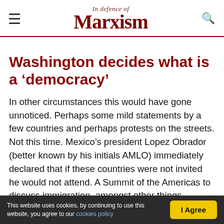In Defence of Marxism
Washington decides what is a ‘democracy’
In other circumstances this would have gone unnoticed. Perhaps some mild statements by a few countries and perhaps protests on the streets. Not this time. Mexico’s president Lopez Obrador (better known by his initials AMLO) immediately declared that if these countries were not invited he would not attend. A Summit of the Americas to discuss immigration, amongst other things, without the
This website uses cookies, by continuing to use this website, you agree to our cookies policy